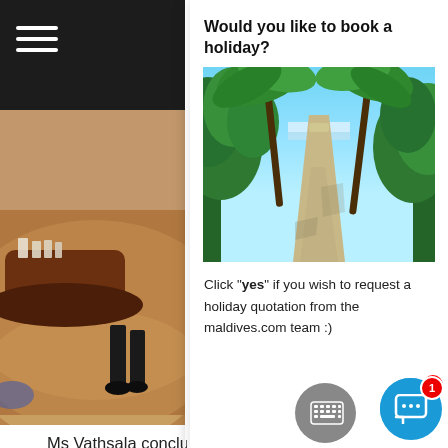[Figure (photo): Dark header bar with hamburger menu icon (three white horizontal lines) on dark background, left column top]
[Figure (photo): Hotel lobby interior photo showing a curved wooden reception desk, marble floor, and a person standing near the desk wearing black boots]
[Figure (photo): Popup panel with title 'Would you like to book a holiday?' and a tropical garden path photo showing palm trees and lush greenery leading to a beach]
Click "yes" if you wish to request a holiday quotation from the maldives.com team :)
Ms Vathsala concluded by expressing her appreciation to the principal and the Faculty of Ho and also the sponsors including NBCC, Salsa Royal, Re Maldivian, Moha u TVM and Maldives Gas who kindly provided the gas cylinders for the finale and the priceless efforts of all local media throughout this month long festival.
Tags: accommodation, aerial, agoda, air taxi, all inclusive